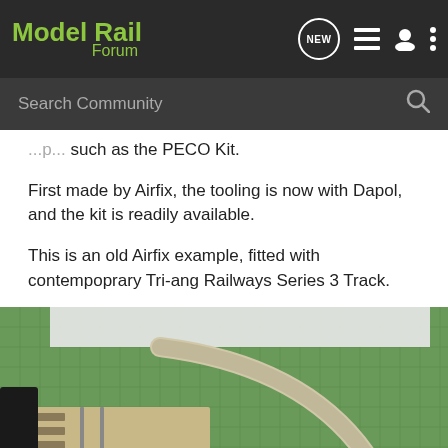Model Rail Forum
such as the PECO Kit.
First made by Airfix, the tooling is now with Dapol, and the kit is readily available.
This is an old Airfix example, fitted with contempoprary Tri-ang Railways Series 3 Track.
[Figure (photo): Model railway track and turnout kit on a green cutting mat, showing an old Airfix example fitted with Tri-ang Railways Series 3 Track]